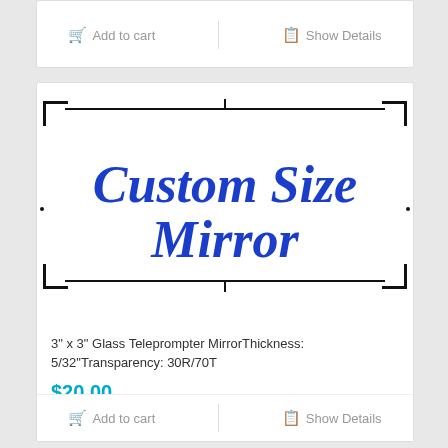[Figure (illustration): Top portion of a product card showing Add to cart and Show Details buttons in grey, partially visible at the top of the page.]
[Figure (photo): A product listing card for a Custom Size Mirror. Shows a white mirror diagram with corner marks, horizontal alignment lines, and center tick marks. Bold italic blue text reads 'Custom Size Mirror'.]
3" x 3" Glass Teleprompter MirrorThickness: 5/32"Transparency: 30R/70T
$20.00